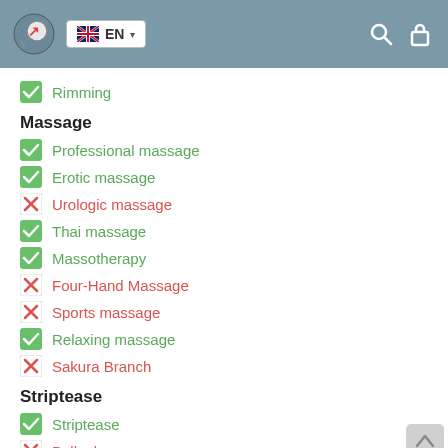EN
Rimming
Massage
Professional massage
Erotic massage
Urologic massage
Thai massage
Massotherapy
Four-Hand Massage
Sports massage
Relaxing massage
Sakura Branch
Striptease
Striptease
Belly dance
Lesbian